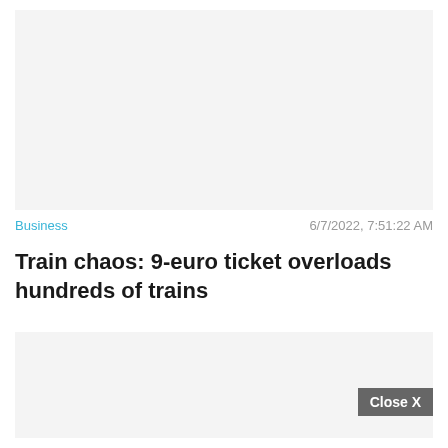[Figure (photo): Top image placeholder, light gray background]
Business
6/7/2022, 7:51:22 AM
Train chaos: 9-euro ticket overloads hundreds of trains
[Figure (photo): Bottom image placeholder with Close X button, light gray background]